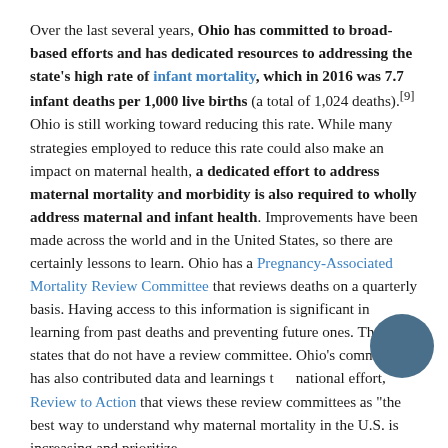Over the last several years, Ohio has committed to broad-based efforts and has dedicated resources to addressing the state's high rate of infant mortality, which in 2016 was 7.7 infant deaths per 1,000 live births (a total of 1,024 deaths).[9] Ohio is still working toward reducing this rate. While many strategies employed to reduce this rate could also make an impact on maternal health, a dedicated effort to address maternal mortality and morbidity is also required to wholly address maternal and infant health. Improvements have been made across the world and in the United States, so there are certainly lessons to learn. Ohio has a Pregnancy-Associated Mortality Review Committee that reviews deaths on a quarterly basis. Having access to this information is significant in learning from past deaths and preventing future ones. There are states that do not have a review committee. Ohio's committee has also contributed data and learnings to a national effort, Review to Action that views these review committees as "the best way to understand why maternal mortality in the U.S. is increasing and prioritize